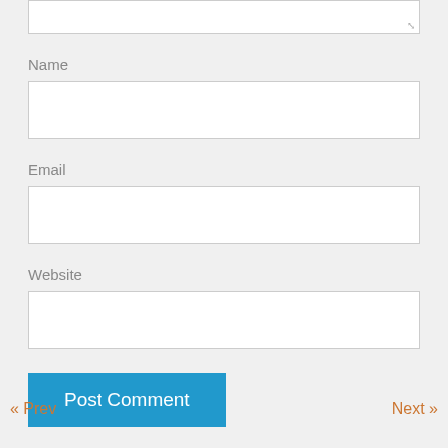Name
Email
Website
Post Comment
« Prev
Next »